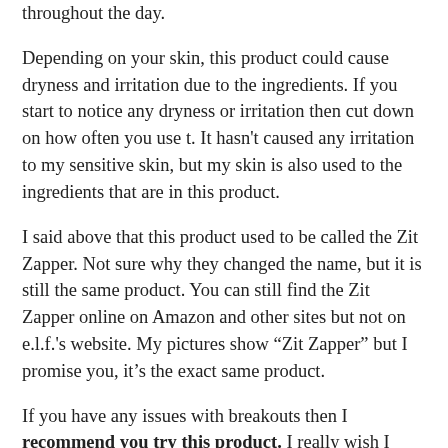throughout the day.
Depending on your skin, this product could cause dryness and irritation due to the ingredients.  If you start to notice any dryness or irritation then cut down on how often you use t.  It hasn't caused any irritation to my sensitive skin, but my skin is also used to the ingredients that are in this product.
I said above that this product used to be called the Zit Zapper.  Not sure why they changed the name, but it is still the same product.  You can still find the Zit Zapper online on Amazon and other sites but not on e.l.f.'s website.  My pictures show "Zit Zapper" but I promise you, it's the exact same product.
If you have any issues with breakouts then I recommend you try this product.  I really wish I opened it sooner, it has been sitting in my drawer unopened for probably four years... I only opened the